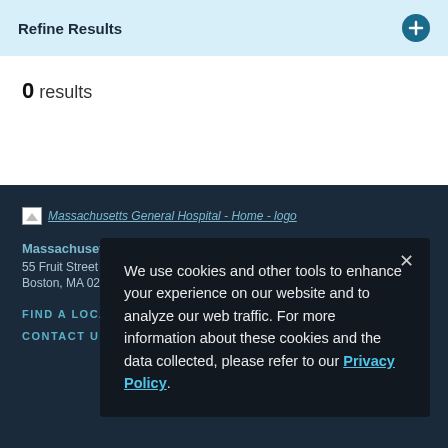Refine Results
0 results
[Figure (screenshot): Massachusetts General Hospital - Home - logo (broken image placeholder with link text)]
Massachusetts General Hospital
55 Fruit Street
Boston, MA 02114
FIND A LOCATION ›
CONTACT US ›
We use cookies and other tools to enhance your experience on our website and to analyze our web traffic. For more information about these cookies and the data collected, please refer to our Privacy Policy.